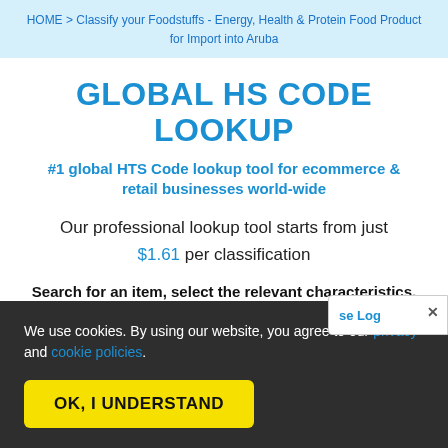HOME > Classify your Foodstuffs - Energy, Health & Protein Food Product for Import into Aruba
GLOBAL HS CODE LOOKUP
#1 global HTS Code lookup tool for ecommerce & retail businesses world-wide
Our professional lookup tool starts from just $1.61 per classification
Search for an item, select the relevant characteristics, and we'll tell you which Tariff Code to use and the duty rates to pay
We use cookies. By using our website, you agree to our privacy and cookie policies.
OK, I UNDERSTAND